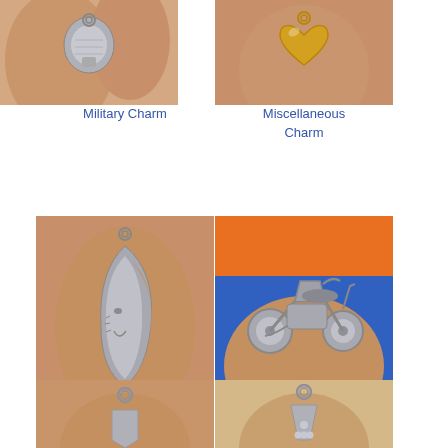[Figure (photo): Photo of a silver military charm held between fingers, partially cropped at top]
Military Charm
[Figure (photo): Photo of a gold/silver miscellaneous heart-shaped charm held between fingers, partially cropped at top]
Miscellaneous Charm
[Figure (photo): Photo of a silver crescent moon charm with a face, held between fingers]
Moon Charm
[Figure (photo): Photo of a silver motorcycle charm held between fingers against colorful background]
Motorcycle Charm
[Figure (photo): Photo of a small silver charm held between fingers, partially visible at bottom of page]
[Figure (photo): Photo of a small silver triangular/bowling pin charm held between fingers, partially visible at bottom of page]